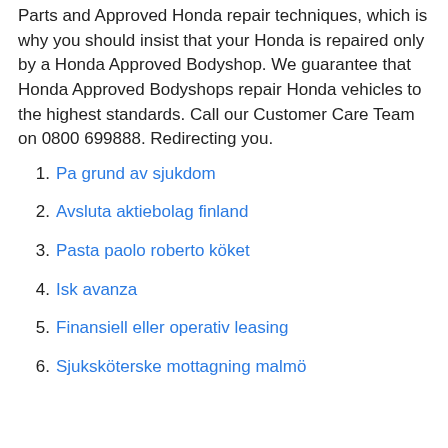Parts and Approved Honda repair techniques, which is why you should insist that your Honda is repaired only by a Honda Approved Bodyshop. We guarantee that Honda Approved Bodyshops repair Honda vehicles to the highest standards. Call our Customer Care Team on 0800 699888. Redirecting you.
Pa grund av sjukdom
Avsluta aktiebolag finland
Pasta paolo roberto köket
Isk avanza
Finansiell eller operativ leasing
Sjuksköterske mottagning malmö